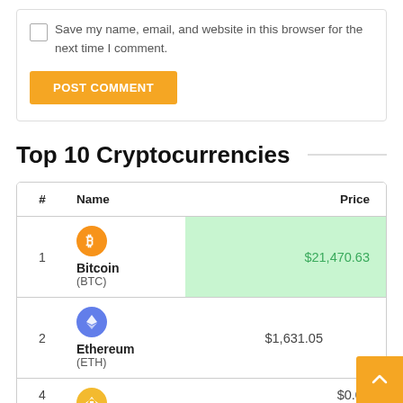Save my name, email, and website in this browser for the next time I comment.
POST COMMENT
Top 10 Cryptocurrencies
| # | Name | Price |
| --- | --- | --- |
| 1 | Bitcoin (BTC) | $21,470.63 |
| 2 | Ethereum (ETH) | $1,631.05 |
| 4 |  | $0.00 |